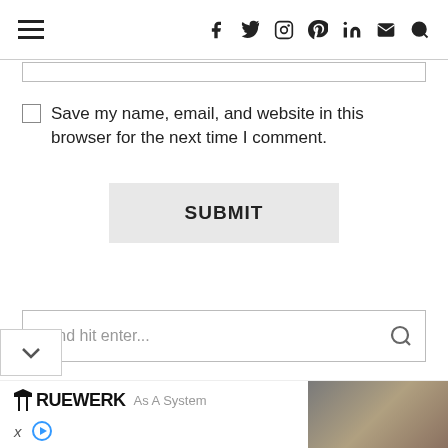Navigation header with hamburger menu and social icons: facebook, twitter, instagram, pinterest, linkedin, email, search
Save my name, email, and website in this browser for the next time I comment.
SUBMIT
[Figure (screenshot): Search bar with placeholder text 'Type and hit enter...' and search icon]
[Figure (screenshot): Dropdown chevron button on bottom left]
[Figure (other): Advertisement banner: TRUEWERK brand logo with 'As A System' text and photo of worker on right side]